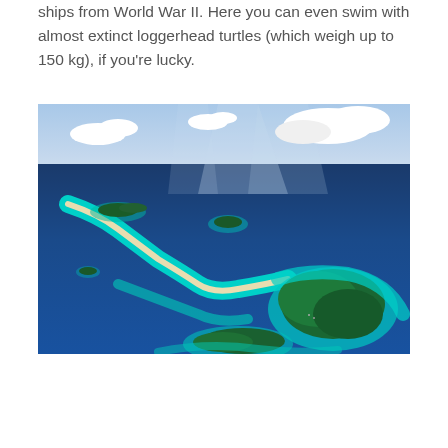ships from World War II. Here you can even swim with almost extinct loggerhead turtles (which weigh up to 150 kg), if you're lucky.
[Figure (photo): Aerial photograph of tropical island archipelago with deep blue ocean waters, white sandy sandbars, turquoise shallow reef water, forested islands, and partly cloudy sky.]